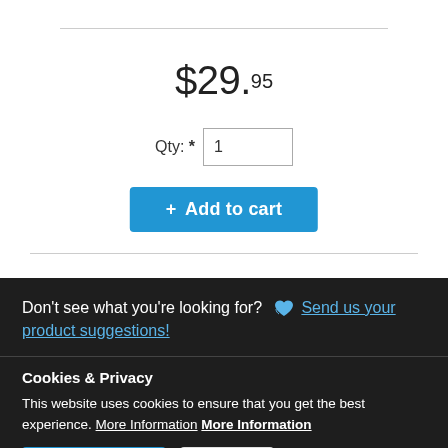$29.95
Qty: * 1
+ Add to cart
Don't see what you're looking for? 💙 Send us your product suggestions!
Cookies & Privacy
This website uses cookies to ensure that you get the best experience. More Information More Information
Accept Cookies
Decline